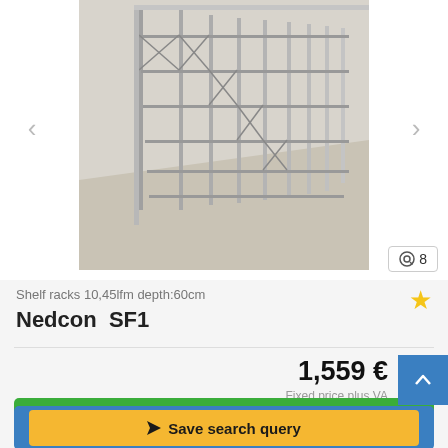[Figure (photo): Photograph of metal shelf racks (Nedcon SF1) in a warehouse, grey galvanized steel shelving units arranged in rows, viewed from a perspective angle. Navigation arrows on left and right. Image count badge showing 8 in bottom right.]
Shelf racks 10,45lfm depth:60cm
Nedcon  SF1
1,559 €
Fixed price plus VA
Send inquiry
Save search query